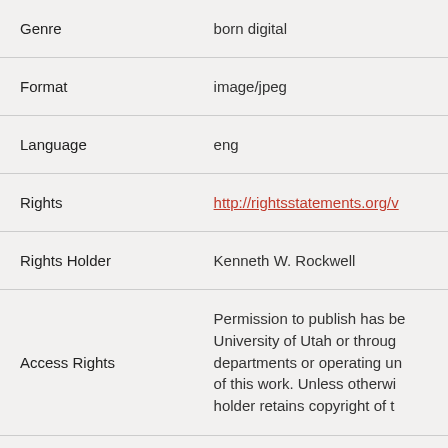| Field | Value |
| --- | --- |
| Genre | born digital |
| Format | image/jpeg |
| Language | eng |
| Rights | http://rightsstatements.org/v… |
| Rights Holder | Kenneth W. Rockwell |
| Access Rights | Permission to publish has be… University of Utah or throug… departments or operating un… of this work. Unless otherwi… holder retains copyright of t… |
| Note | The views and opinions expr… of the author, and do not ret… |